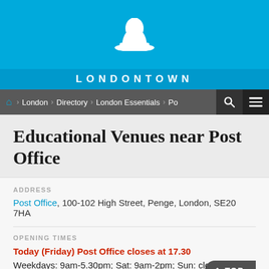[Figure (logo): LondonTown website header with white bowler hat icon on blue background, LONDONTOWN text in white letters]
LONDONTOWN
London > Directory > London Essentials > Post Office
Educational Venues near Post Office
ADDRESS
Post Office, 100-102 High Street, Penge, London, SE20 7HA
OPENING TIMES
Today (Friday) Post Office closes at 17.30
Weekdays: 9am-5.30pm; Sat: 9am-2pm; Sun: closed